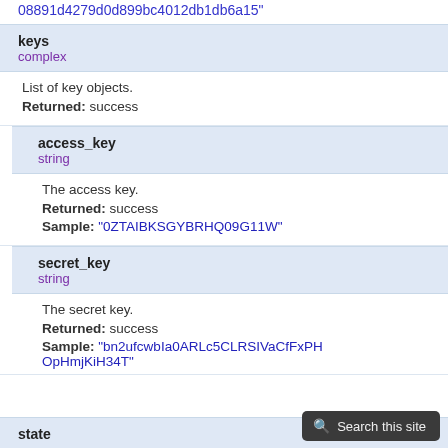08891d4279d0d899bc4012db1db6a15"
keys
complex
List of key objects.
Returned: success
access_key
string
The access key.
Returned: success
Sample: "0ZTAIBKSGYBRHQ09G11W"
secret_key
string
The secret key.
Returned: success
Sample: "bn2ufcwbIa0ARLc5CLRSIVaCfFxPHOpHmjKiH34T"
state